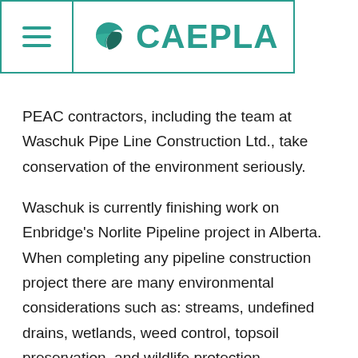CAEPLA (navigation header with logo)
PEAC contractors, including the team at Waschuk Pipe Line Construction Ltd., take conservation of the environment seriously.
Waschuk is currently finishing work on Enbridge's Norlite Pipeline project in Alberta. When completing any pipeline construction project there are many environmental considerations such as: streams, undefined drains, wetlands, weed control, topsoil preservation, and wildlife protection.
Whether it's starting the project late, due